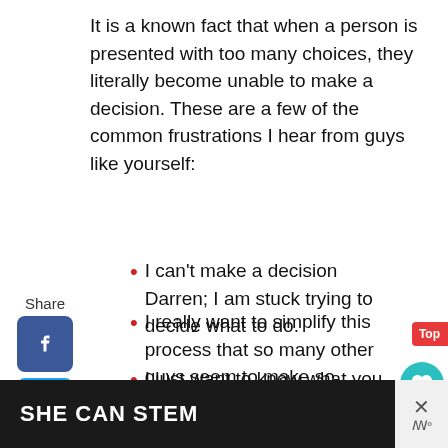It is a known fact that when a person is presented with too many choices, they literally become unable to make a decision. These are a few of the common frustrations I hear from guys like yourself:
I can't make a decision Darren; I am stuck trying to decide what to do.
I really want to simplify this process that so many other guys seem to make so confusing.
I just want to know what you use Darren.
[Figure (screenshot): Bottom banner showing 'SHE CAN STEM' text on dark background, with social sharing UI elements on the right]